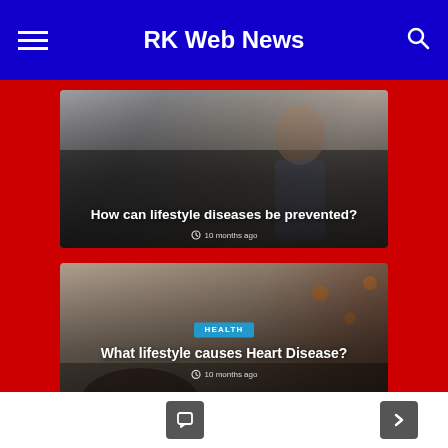RK Web News
[Figure (photo): Article card with photo of a person using a smartphone, with article title overlay: How can lifestyle diseases be prevented? 10 months ago]
[Figure (photo): Article card with photo of a person in bed with coffee and lights, HEALTH category badge, article title overlay: What lifestyle causes Heart Disease? 10 months ago]